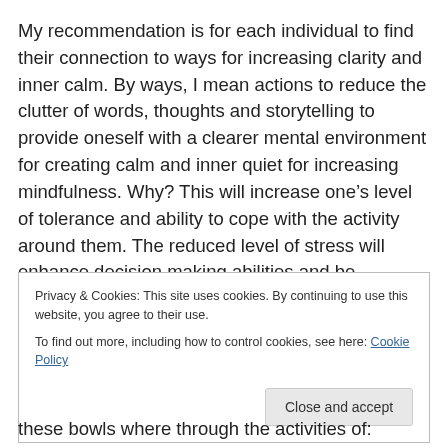My recommendation is for each individual to find their connection to ways for increasing clarity and inner calm. By ways, I mean actions to reduce the clutter of words, thoughts and storytelling to provide oneself with a clearer mental environment for creating calm and inner quiet for increasing mindfulness. Why? This will increase one's level of tolerance and ability to cope with the activity around them. The reduced level of stress will enhance decision making abilities and be healthier mentally,
Privacy & Cookies: This site uses cookies. By continuing to use this website, you agree to their use.
To find out more, including how to control cookies, see here: Cookie Policy
Close and accept
these bowls where through the activities of: